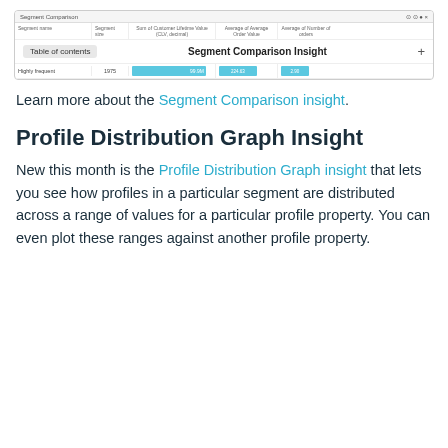[Figure (screenshot): Screenshot of a Segment Comparison table UI showing segment name, segment size, Sum of Customer Lifetime Value (CLV, decimal), Average of Average Order Value, Average of Number of orders columns with a 'Table of contents' label and 'Segment Comparison Insight +' header row, and a data row for 'Highly frequent' segment with values 1975, 99.9M, 224.63, 2.90 shown as blue horizontal bars.]
Learn more about the Segment Comparison insight.
Profile Distribution Graph Insight
New this month is the Profile Distribution Graph insight that lets you see how profiles in a particular segment are distributed across a range of values for a particular profile property. You can even plot these ranges against another profile property.